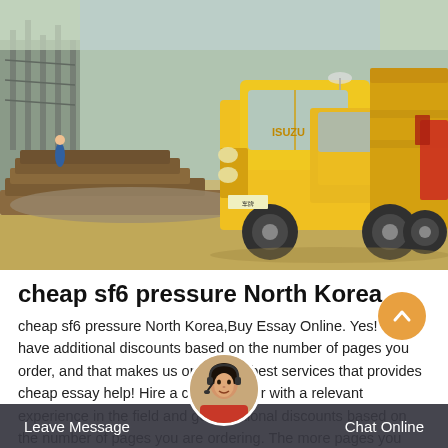[Figure (photo): A yellow Isuzu dump truck at a construction/electrical substation site with timber stacks on the left and industrial equipment in background]
cheap sf6 pressure North Korea
cheap sf6 pressure North Korea,Buy Essay Online. Yes! We have additional discounts based on the number of pages you order, and that makes us one of the best services that provides cheap essay help! Hire a cheap helper with a relevant experience in the field and get additional discounts based on the number of pages you are ordering. The more pages you order, the bigger the discount.
Leave Message  Chat Online